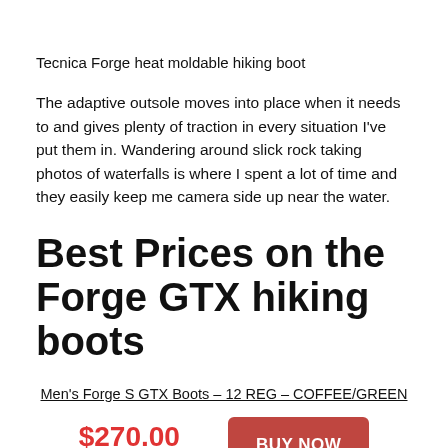Tecnica Forge heat moldable hiking boot
The adaptive outsole moves into place when it needs to and gives plenty of traction in every situation I've put them in. Wandering around slick rock taking photos of waterfalls is where I spent a lot of time and they easily keep me camera side up near the water.
Best Prices on the Forge GTX hiking boots
Men's Forge S GTX Boots – 12 REG – COFFEE/GREEN
$270.00 in stock
BUY NOW